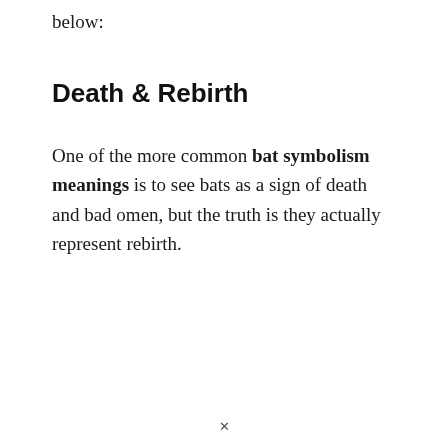below:
Death & Rebirth
One of the more common bat symbolism meanings is to see bats as a sign of death and bad omen, but the truth is they actually represent rebirth.